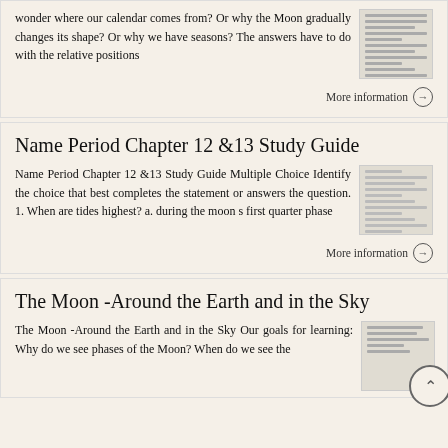wonder where our calendar comes from? Or why the Moon gradually changes its shape? Or why we have seasons? The answers have to do with the relative positions
[Figure (screenshot): Thumbnail image of a document page with text lines]
More information →
Name Period Chapter 12 &13 Study Guide
Name Period Chapter 12 &13 Study Guide Multiple Choice Identify the choice that best completes the statement or answers the question. 1. When are tides highest? a. during the moon s first quarter phase
[Figure (screenshot): Thumbnail image of a study guide document]
More information →
The Moon -Around the Earth and in the Sky
The Moon -Around the Earth and in the Sky Our goals for learning: Why do we see phases of the Moon? When do we see the
[Figure (screenshot): Thumbnail image of Moon document with scroll button]